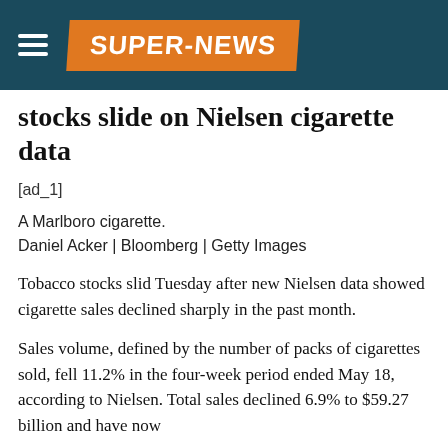SUPER-NEWS
stocks slide on Nielsen cigarette data
[ad_1]
A Marlboro cigarette.
Daniel Acker | Bloomberg | Getty Images
Tobacco stocks slid Tuesday after new Nielsen data showed cigarette sales declined sharply in the past month.
Sales volume, defined by the number of packs of cigarettes sold, fell 11.2% in the four-week period ended May 18, according to Nielsen. Total sales declined 6.9% to $59.27 billion and have now